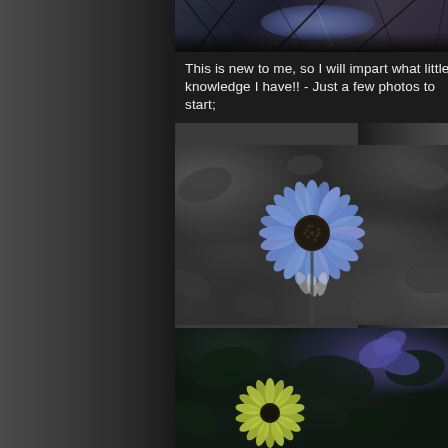[Figure (photo): Partial top photo showing purple/blue flowers against dark stems and grass, cropped at top of page]
This is new to me, so I will impart what little knowledge I have!! - Just a few photos to start;
[Figure (photo): Black and white photo of foliage with a single blue daisy/aster flower in color at center]
[Figure (photo): Dark photo with blue-green/purple foliage and a yellow-green flower at bottom center]